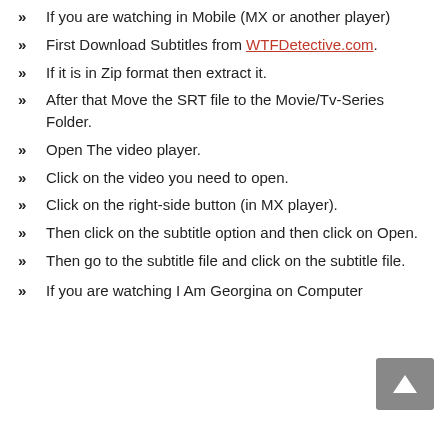If you are watching in Mobile (MX or another player)
First Download Subtitles from WTFDetective.com.
If it is in Zip format then extract it.
After that Move the SRT file to the Movie/Tv-Series Folder.
Open The video player.
Click on the video you need to open.
Click on the right-side button (in MX player).
Then click on the subtitle option and then click on Open.
Then go to the subtitle file and click on the subtitle file.
If you are watching I Am Georgina on Computer